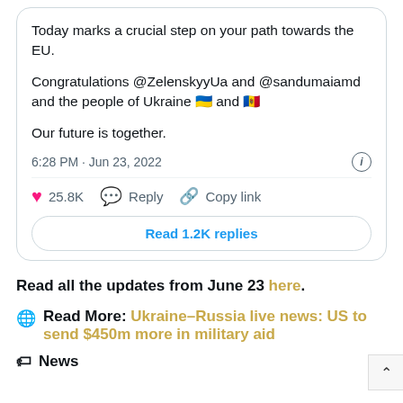Today marks a crucial step on your path towards the EU.

Congratulations @ZelenskyyUa and @sandumaiamd and the people of Ukraine 🇺🇦 and 🇲🇩

Our future is together.
6:28 PM · Jun 23, 2022
25.8K   Reply   Copy link
Read 1.2K replies
Read all the updates from June 23 here.
Read More: Ukraine–Russia live news: US to send $450m more in military aid
News